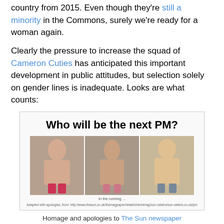country from 2015. Even though they're still a minority in the Commons, surely we're ready for a woman again.
Clearly the pressure to increase the squad of Cameron Cuties has anticipated this important development in public attitudes, but selection solely on gender lines is inadequate. Looks are what counts:
[Figure (photo): Image titled 'Who will be the next PM?' showing three topless women in underwear posed side by side, with small caption text 'In the running...' and attribution 'Adapted with apologies, from: http://...']
Homage and apologies to The Sun newspaper
Of course, not everyone can become a Prime Minister, but the runners-up could be given seats in the House of